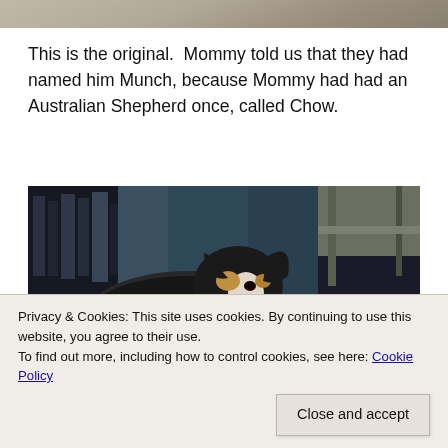[Figure (photo): Top strip of a partially visible photo, showing a textured surface.]
This is the original.  Mommy told us that they had named him Munch, because Mommy had had an Australian Shepherd once, called Chow.
[Figure (photo): A black and white dog (appears to be an Australian Shepherd or similar breed) lying on the floor near furniture in a darkened room.]
Privacy & Cookies: This site uses cookies. By continuing to use this website, you agree to their use.
To find out more, including how to control cookies, see here: Cookie Policy
Close and accept